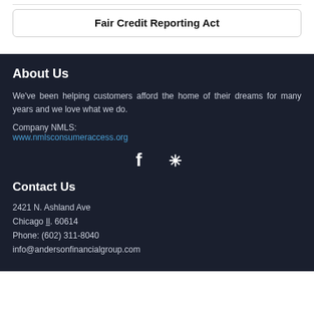Fair Credit Reporting Act
About Us
We've been helping customers afford the home of their dreams for many years and we love what we do.
Company NMLS:
www.nmlsconsumeraccess.org
[Figure (other): Social media icons: Facebook and Yelp]
Contact Us
2421 N. Ashland Ave
Chicago Il. 60614
Phone: (602) 311-8040
info@andersonfinancialgroup.com